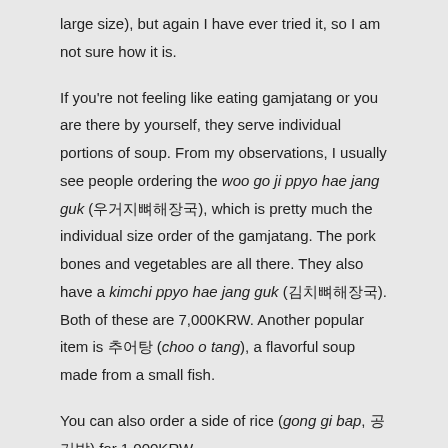large size), but again I have ever tried it, so I am not sure how it is.
If you're not feeling like eating gamjatang or you are there by yourself, they serve individual portions of soup. From my observations, I usually see people ordering the woo go ji ppyo hae jang guk (우거지뼈해장국), which is pretty much the individual size order of the gamjatang. The pork bones and vegetables are all there. They also have a kimchi ppyo hae jang guk (김치뼈해장국). Both of these are 7,000KRW. Another popular item is 추어탕 (choo o tang), a flavorful soup made from a small fish.
You can also order a side of rice (gong gi bap, 공기밥) for 1,000KRW.
[Figure (photo): Indoor restaurant scene showing signs and a fan on the wall, with what appears to be menu or notice signs visible.]